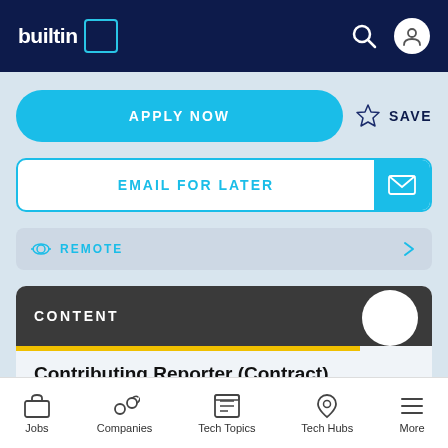[Figure (screenshot): Built In website header with dark navy background, logo on left, search and profile icons on right]
APPLY NOW
SAVE
EMAIL FOR LATER
REMOTE
CONTENT
Contributing Reporter (Contract)
BUILT IN
Jobs  Companies  Tech Topics  Tech Hubs  More